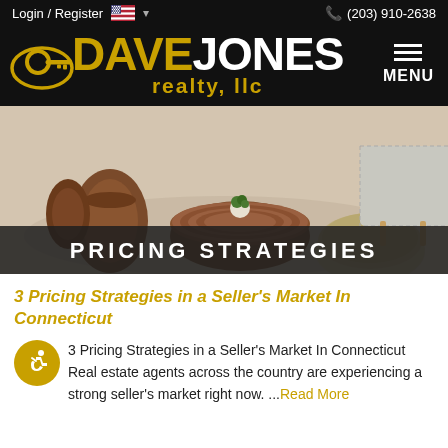Login / Register   (203) 910-2638
[Figure (logo): Dave Jones Realty LLC logo with gold key icon, gold and white text on black background, and hamburger MENU button]
[Figure (photo): Interior living room scene with wooden decorative bowl, small round coffee table with succulent plant, woven pouf, and knit blanket on chair. Overlay text reads PRICING STRATEGIES.]
3 Pricing Strategies in a Seller's Market In Connecticut
3 Pricing Strategies in a Seller's Market In Connecticut Real estate agents across the country are experiencing a strong seller's market right now. ...Read More